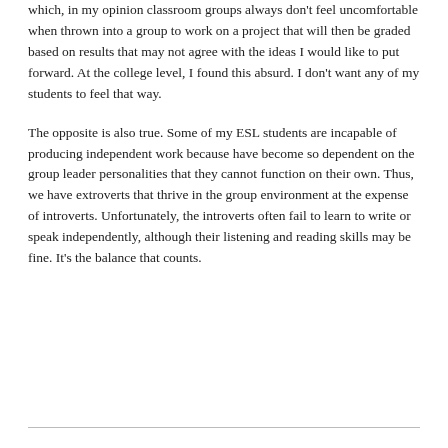which, in my opinion classroom groups always don't feel uncomfortable when thrown into a group to work on a project that will then be graded based on results that may not agree with the ideas I would like to put forward. At the college level, I found this absurd. I don't want any of my students to feel that way.
The opposite is also true. Some of my ESL students are incapable of producing independent work because have become so dependent on the group leader personalities that they cannot function on their own. Thus, we have extroverts that thrive in the group environment at the expense of introverts. Unfortunately, the introverts often fail to learn to write or speak independently, although their listening and reading skills may be fine. It's the balance that counts.